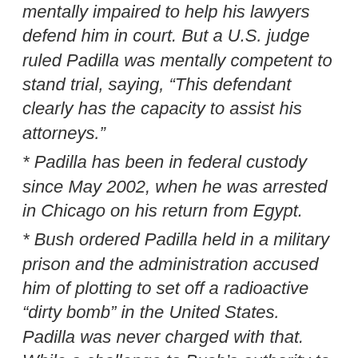mentally impaired to help his lawyers defend him in court. But a U.S. judge ruled Padilla was mentally competent to stand trial, saying, “This defendant clearly has the capacity to assist his attorneys.”
* Padilla has been in federal custody since May 2002, when he was arrested in Chicago on his return from Egypt.
* Bush ordered Padilla held in a military prison and the administration accused him of plotting to set off a radioactive “dirty bomb” in the United States. Padilla was never charged with that. While a challenge to Bush’s authority to hold him without charge was pending